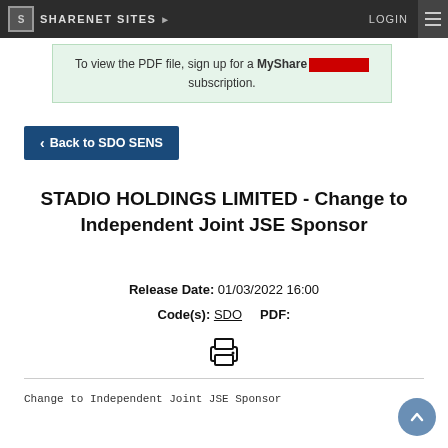SHARENET SITES ▶  LOGIN
To view the PDF file, sign up for a MyShareNet subscription.
‹ Back to SDO SENS
STADIO HOLDINGS LIMITED - Change to Independent Joint JSE Sponsor
Release Date: 01/03/2022 16:00  Code(s): SDO  PDF:
Change to Independent Joint JSE Sponsor